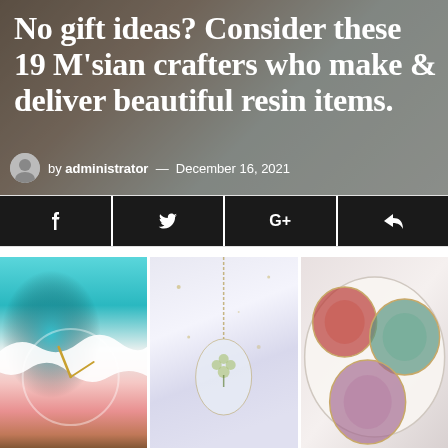No gift ideas? Consider these 19 M'sian crafters who make & deliver beautiful resin items.
by administrator — December 16, 2021
[Figure (infographic): Social share buttons: Facebook, Twitter, Google+, and share/forward icon on dark background]
[Figure (photo): Three images of resin craft items: a teal ocean wave resin clock with gold hands, a clear resin pendant necklace with a four-leaf clover, and colorful resin coaster slices with floral patterns]